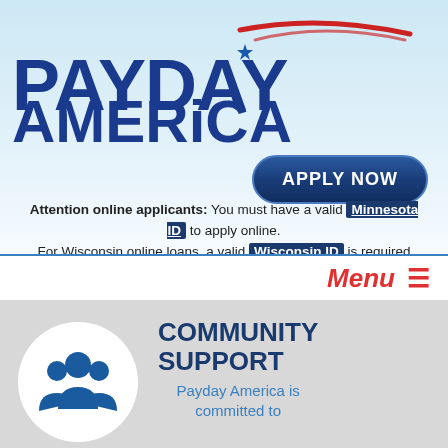[Figure (logo): Payday America logo with blue bold text and red/blue swoosh graphic above the letter i]
[Figure (other): APPLY NOW button — dark navy rounded rectangle with white bold text]
Attention online applicants: You must have a valid Minnesota ID to apply online. For Wisconsin online loans, a valid Wisconsin ID is required
Menu ≡
[Figure (illustration): White circle with blue silhouette icon of three people (community/group icon)]
COMMUNITY SUPPORT
Payday America is committed to